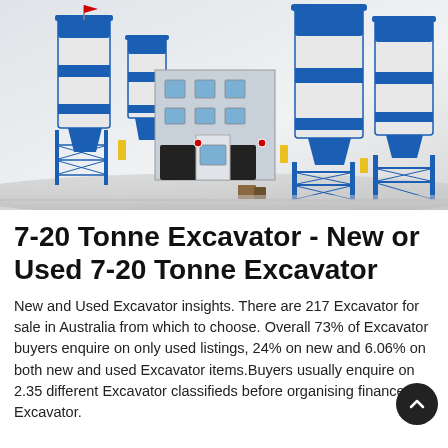[Figure (photo): Industrial concrete batching plant with large blue and white cylindrical silos, metal scaffolding frames, a multi-story building structure, and a small red flag on top of one silo. The facility has covered loading bays and is set against a light grey/white background.]
7-20 Tonne Excavator - New or Used 7-20 Tonne Excavator
New and Used Excavator insights. There are 217 Excavator for sale in Australia from which to choose. Overall 73% of Excavator buyers enquire on only used listings, 24% on new and 6.06% on both new and used Excavator items.Buyers usually enquire on 2.35 different Excavator classifieds before organising finance for Excavator.